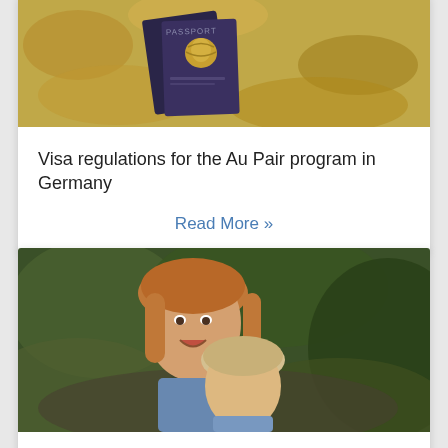[Figure (photo): Passport photo showing a dark blue passport with gold emblem on autumn leaves background]
Visa regulations for the Au Pair program in Germany
Read More »
[Figure (photo): Two young girls, one leaning over the other, smiling outdoors with green foliage background]
Au Pair in Germany: requirements for EU and Non-EU citizens
Read More »